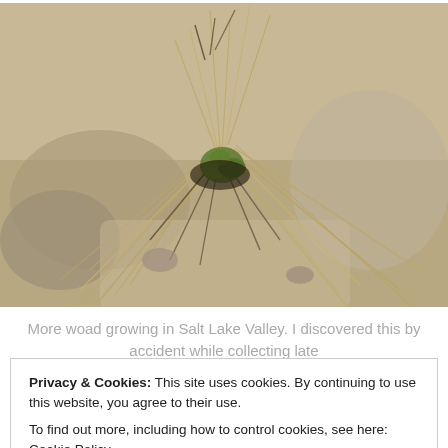[Figure (photo): Photograph of woad plant growing in sandy/rocky soil in Salt Lake Valley, showing dry grass and sparse green growth at center]
More woad growing in Salt Lake Valley. I discovered this by accident while collecting late
Privacy & Cookies: This site uses cookies. By continuing to use this website, you agree to their use.
To find out more, including how to control cookies, see here: Cookie Policy